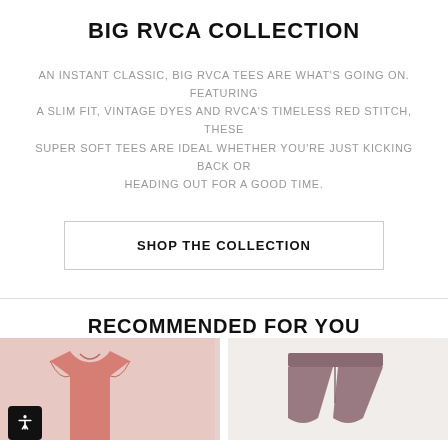BIG RVCA COLLECTION
AN INSTANT CLASSIC, BIG RVCA TEES ARE WHAT'S GOING ON. FEATURING A SLIM FIT, VINTAGE DYES AND RVCA'S TIMELESS RED STITCH, THESE SUPER SOFT TEES ARE IDEAL WHETHER YOU'RE JUST KICKING BACK OR HEADING OUT FOR A GOOD TIME.
SHOP THE COLLECTION
RECOMMENDED FOR YOU
[Figure (photo): Pink/coral t-shirt product photo on pink background]
[Figure (photo): Dark mauve/burgundy shorts product photo on light background]